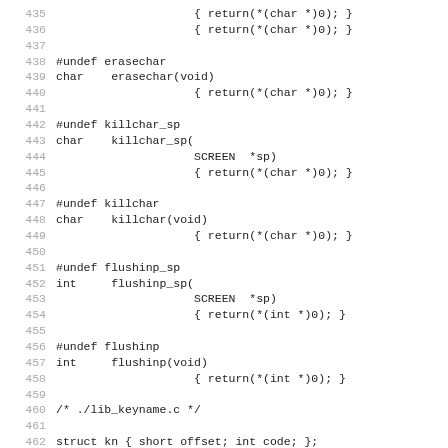435 (cut off) { return(*(char *)0); }
436                    { return(*(char *)0); }
437
438 #undef erasechar
439 char    erasechar(void)
440                    { return(*(char *)0); }
441
442 #undef killchar_sp
443 char    killchar_sp(
444                    SCREEN  *sp)
445                    { return(*(char *)0); }
446
447 #undef killchar
448 char    killchar(void)
449                    { return(*(char *)0); }
450
451 #undef flushinp_sp
452 int     flushinp_sp(
453                    SCREEN  *sp)
454                    { return(*(int *)0); }
455
456 #undef flushinp
457 int     flushinp(void)
458                    { return(*(int *)0); }
459
460 /* ./lib_keyname.c */
461
462 struct kn { short offset; int code; };
463
464 #undef keyname_sp
465 const char *keyname_sp(
466                    SCREEN  *sp,
467                    int     c)